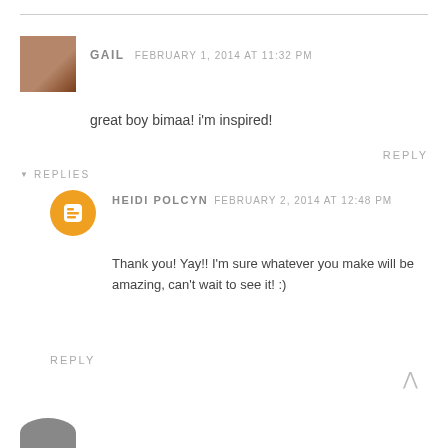GAIL  FEBRUARY 1, 2014 AT 11:32 PM
great boy bimaa! i'm inspired!
REPLY
▼ REPLIES
HEIDI POLCYN  FEBRUARY 2, 2014 AT 12:48 PM
Thank you! Yay!! I'm sure whatever you make will be amazing, can't wait to see it! :)
REPLY